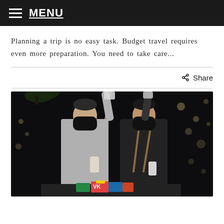MENU
Planning a trip is no easy task. Budget travel requires even more preparation. You need to take care...
[Figure (photo): Two bartenders wearing black face masks pouring drinks at night, with string lights in the background. The bartender on the left wears a gray shirt; the one on the right wears a dark uniform with an apron. Both are raising their containers to pour liquid in a dramatic fashion.]